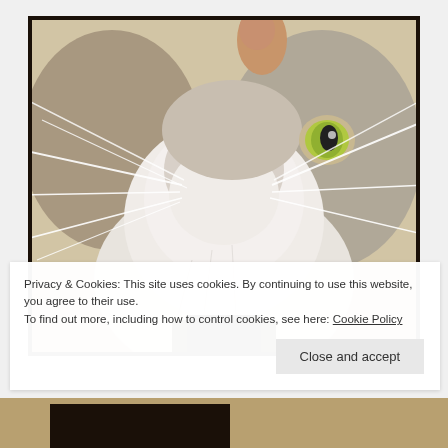[Figure (photo): Close-up photo of a fluffy gray and white cat looking upward, shot from below. The cat has prominent white whiskers, a pink nose, and one visible yellow-green eye. The cat's white fluffy chest and chin dominate the center of the image.]
Privacy & Cookies: This site uses cookies. By continuing to use this website, you agree to their use.
To find out more, including how to control cookies, see here: Cookie Policy